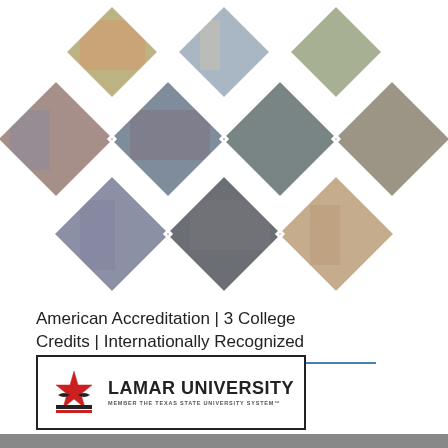[Figure (photo): Collage of diamond-shaped photos showing classroom and educational scenes: students learning, teachers instructing, group activities in various international classroom settings]
American Accreditation | 3 College Credits | Internationally Recognized
[Figure (logo): Lamar University logo with star/eagle emblem in red and black, text reads LAMAR UNIVERSITY, MEMBER THE TEXAS STATE UNIVERSITY SYSTEM, inside a rectangular border]